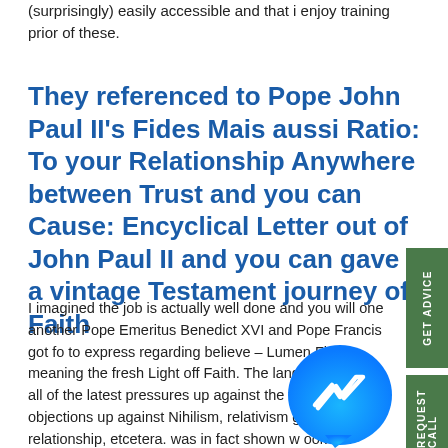(surprisingly) easily accessible and that i enjoy training prior of these.
They referenced to Pope John Paul II’s Fides Mais aussi Ratio: To your Relationship Anywhere between Trust and you can Cause: Encyclical Letter out of John Paul II and you can gave a vintage Testament journey off Faith
I imagined the job is actually well done and you will one another Pope Emeritus Benedict XVI and Pope Francis got fo to express regarding believe – Lumen Fidei meaning the fresh Light off Faith. The language tackles all of the latest pressures up against the fresh new Chur objections up against Nihilism, relativism gay relationship, etcetera. was in fact shown w ook at t easy-to-pursue dialectical trends.
[Figure (logo): Facebook Messenger icon - blue circular button with lightning bolt chat symbol]